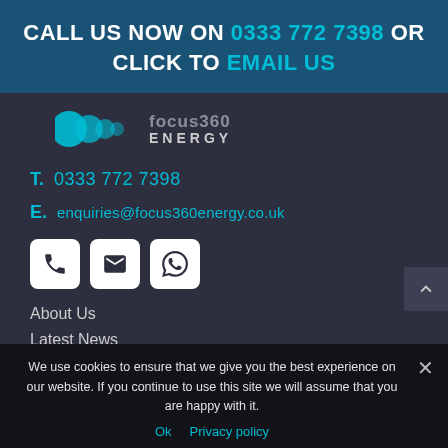CALL US NOW ON 0333 772 7398 OR CLICK TO EMAIL US
[Figure (logo): Focus 360 Energy logo with teal circles and ENERGY text]
T. 0333 772 7398
E. enquiries@focus360energy.co.uk
[Figure (illustration): Three icon buttons: phone, email, WhatsApp]
About Us
Latest News
Contact us
We use cookies to ensure that we give you the best experience on our website. If you continue to use this site we will assume that you are happy with it.
Ok   Privacy policy